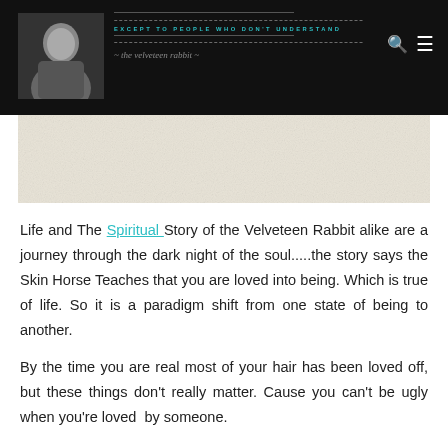[Figure (photo): Black and white photo of a person in dark clothing, used as blog/website header avatar]
EXCEPT TO PEOPLE WHO DON'T UNDERSTAND
~the velveteen rabbit~
[Figure (photo): Beige/cream textured banner image area]
Life and The Spiritual Story of the Velveteen Rabbit alike are a journey through the dark night of the soul.....the story says the Skin Horse Teaches that you are loved into being. Which is true of life. So it is a paradigm shift from one state of being to another.
By the time you are real most of your hair has been loved off, but these things don't really matter. Cause you can't be ugly when you're loved by someone.